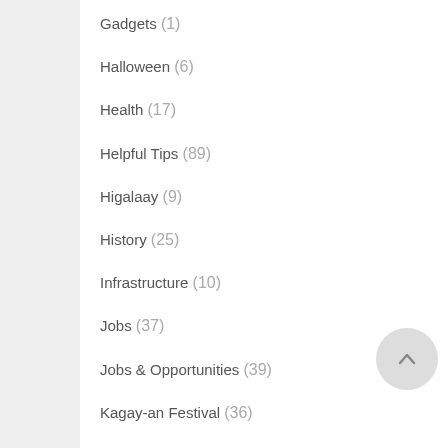Gadgets (1)
Halloween (6)
Health (17)
Helpful Tips (89)
Higalaay (9)
History (25)
Infrastructure (10)
Jobs (37)
Jobs & Opportunities (39)
Kagay-an Festival (36)
Love (8)
Movie (9)